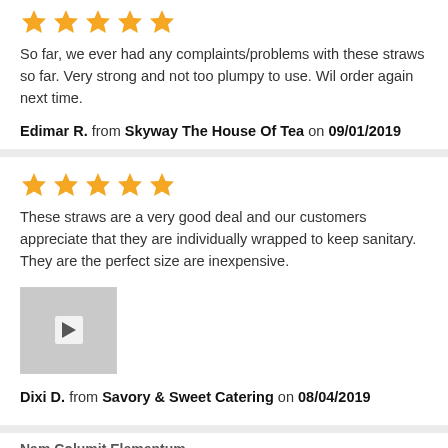[Figure (other): Five gold stars rating]
So far, we ever had any complaints/problems with these straws so far. Very strong and not too plumpy to use. Wil order again next time.
Edimar R. from Skyway The House Of Tea on 09/01/2019
[Figure (other): Five gold stars rating]
These straws are a very good deal and our customers appreciate that they are individually wrapped to keep sanitary. They are the perfect size are inexpensive.
[Figure (photo): Small video thumbnail showing a box of straws with a play button overlay]
Dixi D. from Savory & Sweet Catering on 08/04/2019
Nam Columit Elementum...